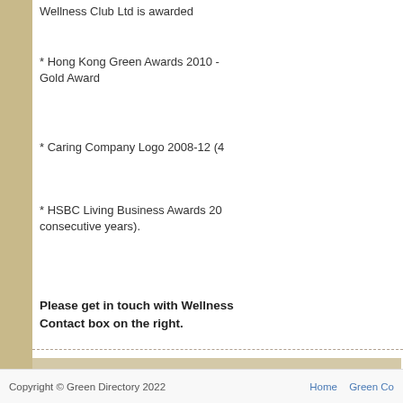Wellness Club Ltd is awarded
* Hong Kong Green Awards 2010 - Gold Award
* Caring Company Logo 2008-12 (4...
* HSBC Living Business Awards 20... consecutive years).
Please get in touch with Wellness... Contact box on the right.
Similar to Wellness Club Ltd
» Contact Wellness Club Ltd
[Figure (other): Image placeholder with broken image icon]
Copyright © Green Directory 2022    Home    Green Co...